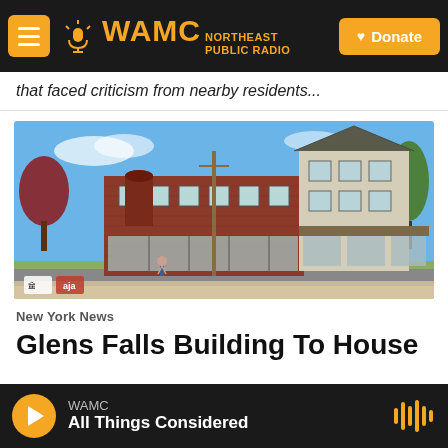WAMC Northeast Public Radio — Donate
that faced criticism from nearby residents...
[Figure (photo): Architectural rendering of a mixed-use building in Glens Falls, with brick and light-colored exterior, multiple stories, green lawns, and street-level retail windows. Small logos visible at bottom left.]
New York News
Glens Falls Building To House
WAMC — All Things Considered